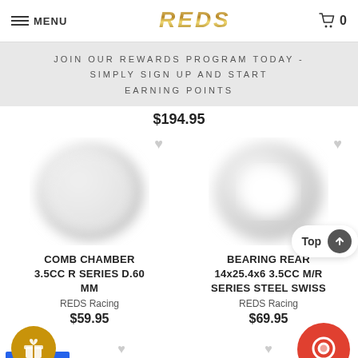MENU | REDS RC | 0
JOIN OUR REWARDS PROGRAM TODAY - SIMPLY SIGN UP AND START EARNING POINTS
$194.95
[Figure (photo): Product image left - blurred circular shape (COMB CHAMBER 3.5CC R SERIES D.60 MM)]
[Figure (photo): Product image right - blurred ring/bearing shape (BEARING REAR 14x25.4x6 3.5CC M/R SERIES STEEL SWISS)]
COMB CHAMBER 3.5CC R SERIES D.60 MM
REDS Racing
$59.95
BEARING REAR 14x25.4x6 3.5CC M/R SERIES STEEL SWISS
REDS Racing
$69.95